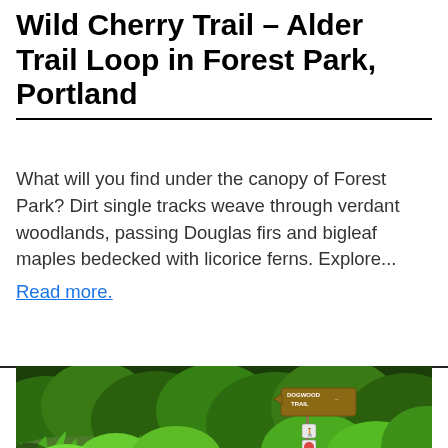Wild Cherry Trail – Alder Trail Loop in Forest Park, Portland
What will you find under the canopy of Forest Park? Dirt single tracks weave through verdant woodlands, passing Douglas firs and bigleaf maples bedecked with licorice ferns. Explore...
Read more.
[Figure (photo): A lush green forest scene showing dense ferns and foliage with a Dogwood Trail sign visible with trail markers, taken in Forest Park, Portland.]
Wild Cherry Trail – Dog...